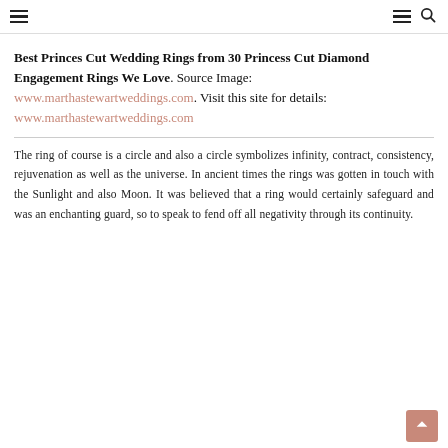≡  ≡ 🔍
Best Princes Cut Wedding Rings from 30 Princess Cut Diamond Engagement Rings We Love. Source Image: www.marthastewartweddings.com. Visit this site for details: www.marthastewartweddings.com
The ring of course is a circle and also a circle symbolizes infinity, contract, consistency, rejuvenation as well as the universe. In ancient times the rings was gotten in touch with the Sunlight and also Moon. It was believed that a ring would certainly safeguard and was an enchanting guard, so to speak to fend off all negativity through its continuity.